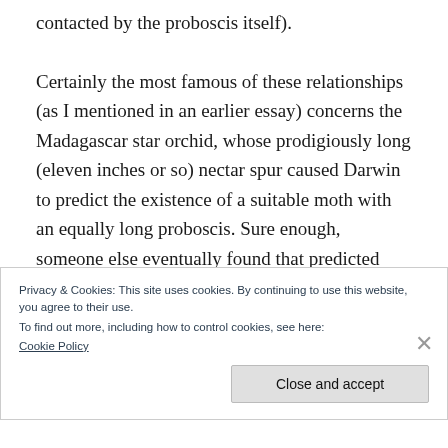contacted by the proboscis itself).
Certainly the most famous of these relationships (as I mentioned in an earlier essay) concerns the Madagascar star orchid, whose prodigiously long (eleven inches or so) nectar spur caused Darwin to predict the existence of a suitable moth with an equally long proboscis. Sure enough, someone else eventually found that predicted moth, in action. Now there are rumors that a second
Privacy & Cookies: This site uses cookies. By continuing to use this website, you agree to their use.
To find out more, including how to control cookies, see here:
Cookie Policy
Close and accept